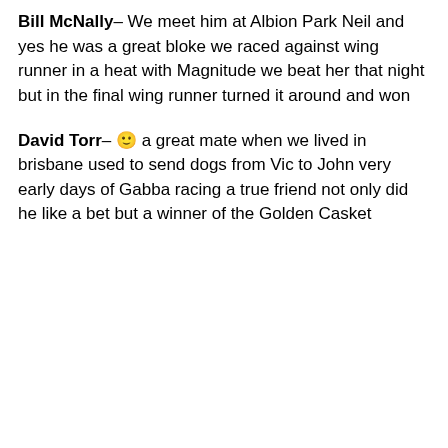Bill McNally– We meet him at Albion Park Neil and yes he was a great bloke we raced against wing runner in a heat with Magnitude we beat her that night but in the final wing runner turned it around and won
David Torr– 🙂 a great mate when we lived in brisbane used to send dogs from Vic to John very early days of Gabba racing a true friend not only did he like a bet but a winner of the Golden Casket